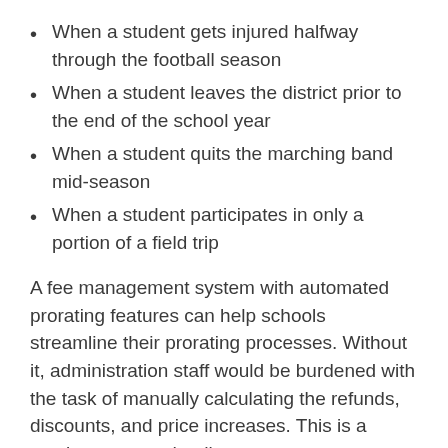When a student gets injured halfway through the football season
When a student leaves the district prior to the end of the school year
When a student quits the marching band mid-season
When a student participates in only a portion of a field trip
A fee management system with automated prorating features can help schools streamline their prorating processes. Without it, administration staff would be burdened with the task of manually calculating the refunds, discounts, and price increases. This is a cumbersome and tedious process.